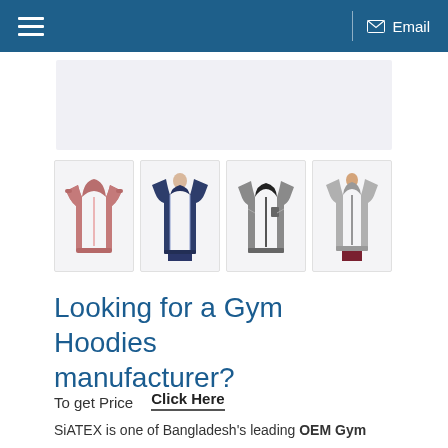☰  Email
[Figure (photo): Light gray banner/advertisement placeholder image]
[Figure (photo): Four product thumbnail images of gym hoodies: pink hoodie, navy blue hoodie, gray zip-up hoodie, gray zip-up hoodie worn by model]
Looking for a Gym Hoodies manufacturer?
To get Price    Click Here
SiATEX is one of Bangladesh's leading OEM Gym